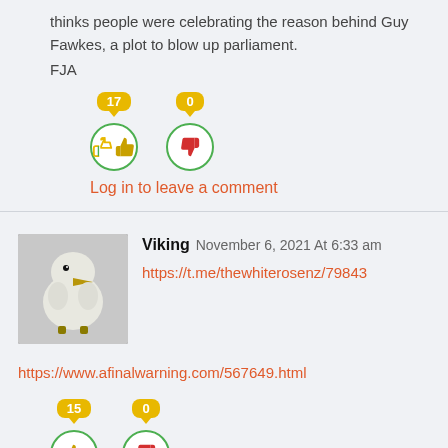thinks people were celebrating the reason behind Guy Fawkes, a plot to blow up parliament.
FJA
[Figure (infographic): Vote buttons: thumbs up with count 17, thumbs down with count 0]
Log in to leave a comment
[Figure (photo): Avatar image of a white fluffy bird (kiwi chick)]
Viking  November 6, 2021 At 6:33 am
https://t.me/thewhiterosenz/79843
https://www.afinalwarning.com/567649.html
[Figure (infographic): Vote buttons: thumbs up with count 15, thumbs down with count 0]